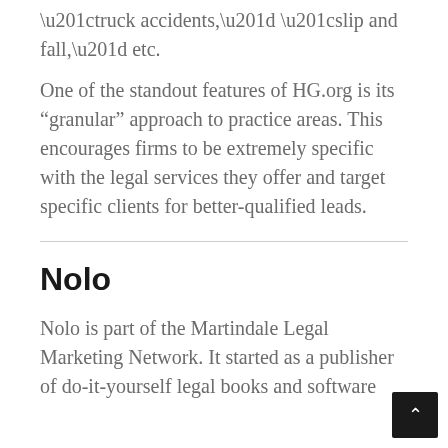“truck accidents,” “slip and fall,” etc.
One of the standout features of HG.org is its “granular” approach to practice areas. This encourages firms to be extremely specific with the legal services they offer and target specific clients for better-qualified leads.
Nolo
Nolo is part of the Martindale Legal Marketing Network. It started as a publisher of do-it-yourself legal books and software